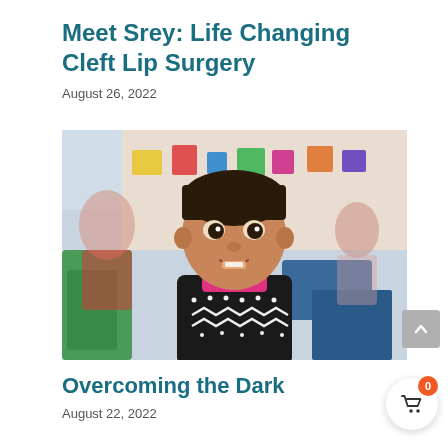Meet Srey: Life Changing Cleft Lip Surgery
August 26, 2022
[Figure (photo): A young girl smiling at the camera in a classroom setting, wearing a black patterned sweater with a pink collar. She has dark hair pulled back. The background shows a colorful classroom environment with other children blurred in the background.]
Overcoming the Dark
August 22, 2022